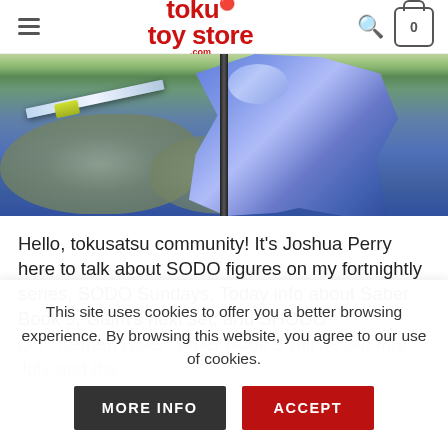toku toy store .com
[Figure (photo): A blue armored tokusatsu figure (Kamen Rider Saber) posed outdoors holding a sword, with rocks and greenery in the background.]
Hello, tokusatsu community! It's Joshua Perry here to talk about SODO figures on my fortnightly series, SODO Sundays. Today info about Saber Book 9, Gaim's next set, and SHODO-O 7! Kamen Rider Saber Book 9 will be out this July and the
This site uses cookies to offer you a better browsing experience. By browsing this website, you agree to our use of cookies.